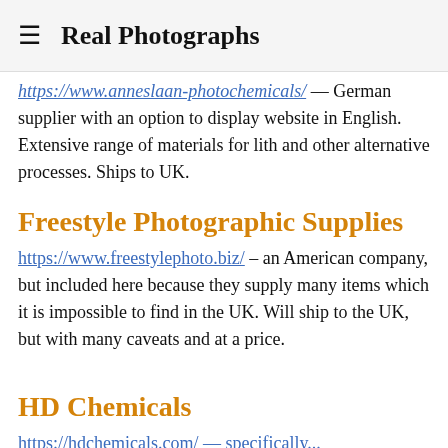Real Photographs
https://www.anneslaan-photochemicals/ — German supplier with an option to display website in English. Extensive range of materials for lith and other alternative processes. Ships to UK.
Freestyle Photographic Supplies
https://www.freestylephoto.biz/ – an American company, but included here because they supply many items which it is impossible to find in the UK. Will ship to the UK, but with many caveats and at a price.
HD Chemicals
https://hdchemicals.com/ — specifically...